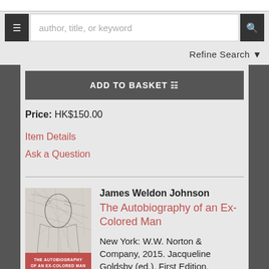author, title, or keyword
Refine Search
ADD TO BASKET
Price: HK$150.00
Item Details
Ask a Question
[Figure (illustration): Book cover of 'The Autobiography of an Ex-Colored Man' showing a sketch portrait of a figure on a grey background with a red title band at the bottom]
James Weldon Johnson
The Autobiography of an Ex-Colored Man
New York: W.W. Norton & Company, 2015. Jacqueline Goldsby (ed.). First Edition.